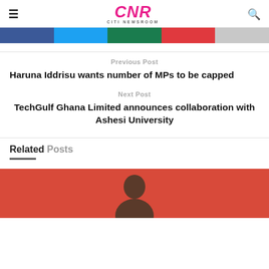CNR CITI NEWSROOM
[Figure (other): Social share buttons: Facebook, Twitter, WhatsApp, Pinterest, More]
Previous Post
Haruna Iddrisu wants number of MPs to be capped
Next Post
TechGulf Ghana Limited announces collaboration with Ashesi University
Related Posts
[Figure (photo): Person photograph with orange/red background, partially visible]